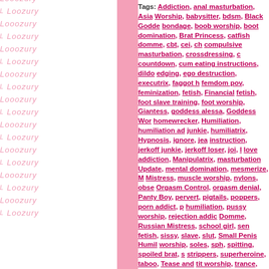[Figure (illustration): Left sidebar with repeated pink italic 'Loozury' watermark text pattern on white background, with a solid pink vertical bar on the right side of the sidebar]
Tags: Addiction, anal masturbation, Asian Worship, babysitter, bdsm, Black Goddess, bondage, boob worship, boot domination, Brat Princess, catfish domme, cbt, cei, ch compulsive masturbation, crossdressing, countdown, cum eating instructions, dildo edging, ego destruction, executrix, faggot femdom pov, feminization, fetish, Financial fetish, foot slave training, foot worship, Giantess, goddess alessa, Goddess Worship, homewrecker, Humiliation, humiliation ad junkie, humiliatrix, Hypnosis, ignore, jea instruction, jerkoff junkie, jerkoff loser, joi, love addiction, Manipulatrix, masturbation Update, mental domination, mesmerize, M Mistress, muscle worship, nylons, obse Orgasm Control, orgasm denial, Panty Boy, pervert, pigtails, poppers, porn addict, p humiliation, pussy worship, rejection addict Domme, Russian Mistress, school girl, sen fetish, sissy, slave, slut, Small Penis Humil worship, soles, sph, spitting, spoiled brat, s strippers, superheroine, taboo, Tease and tit worship, trance, Tribute, trigger words, Worship, yoga pants | No Comments »